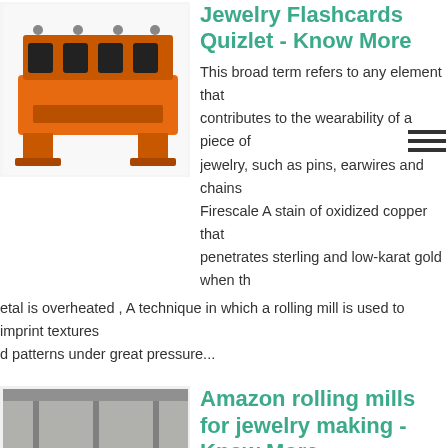[Figure (photo): Orange industrial rolling mill machine photographed against white background]
Jewelry Flashcards Quizlet - Know More
This broad term refers to any element that contributes to the wearability of a piece of jewelry, such as pins, earwires and chains Firescale A stain of oxidized copper that penetrates sterling and low-karat gold when the metal is overheated , A technique in which a rolling mill is used to imprint textures and patterns under great pressure...
[Figure (photo): Large industrial rolling mill machine in a factory/warehouse setting]
Amazon rolling mills for jewelry making - Know More
Jewelry Rolling Mill Machine 3 inch 75mm Manual Combination Rolling Mill Gear Ratio 1 Presser Rolling Mills for Jewelry Making Square Wire Flat Semicircle Pattern Metal Sheet Marking DIY Tools 42 out of 5 stars 63 25800 8 00 Join Prime to save 2580 on this item...